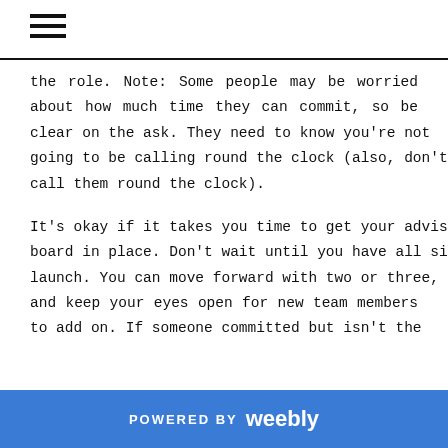≡
the role. Note: Some people may be worried about how much time they can commit, so be clear on the ask. They need to know you're not going to be calling round the clock (also, don't call them round the clock).
It's okay if it takes you time to get your advisory board in place. Don't wait until you have all six to launch. You can move forward with two or three, and keep your eyes open for new team members to add on. If someone committed but isn't the
POWERED BY weebly